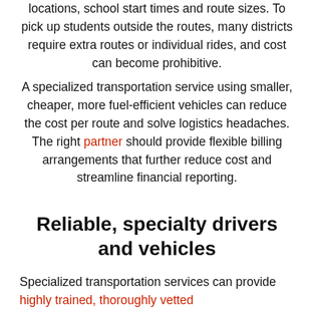locations, school start times and route sizes. To pick up students outside the routes, many districts require extra routes or individual rides, and cost can become prohibitive.
A specialized transportation service using smaller, cheaper, more fuel-efficient vehicles can reduce the cost per route and solve logistics headaches. The right partner should provide flexible billing arrangements that further reduce cost and streamline financial reporting.
Reliable, specialty drivers and vehicles
Specialized transportation services can provide highly trained, thoroughly vetted